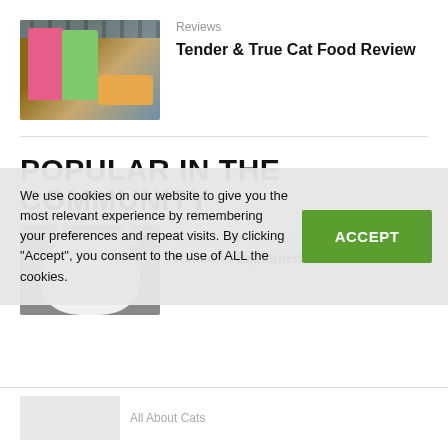Reviews
Tender & True Cat Food Review
POPULAR IN THE COMMUNITY
We use cookies on our website to give you the most relevant experience by remembering your preferences and repeat visits. By clicking "Accept", you consent to the use of ALL the cookies.
ACCEPT
Why Is My Cat Staring At Me? Top 5 Reasons Explained
All About Cats